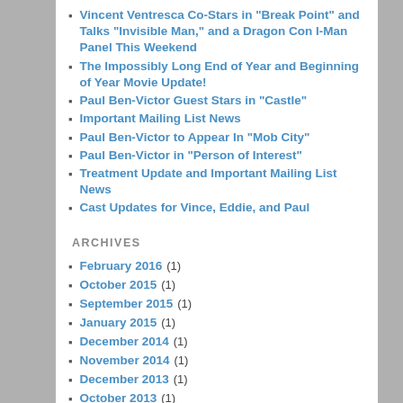Vincent Ventresca Co-Stars in “Break Point” and Talks “Invisible Man,” and a Dragon Con I-Man Panel This Weekend
The Impossibly Long End of Year and Beginning of Year Movie Update!
Paul Ben-Victor Guest Stars in “Castle”
Important Mailing List News
Paul Ben-Victor to Appear In “Mob City”
Paul Ben-Victor in “Person of Interest”
Treatment Update and Important Mailing List News
Cast Updates for Vince, Eddie, and Paul
ARCHIVES
February 2016 (1)
October 2015 (1)
September 2015 (1)
January 2015 (1)
December 2014 (1)
November 2014 (1)
December 2013 (1)
October 2013 (1)